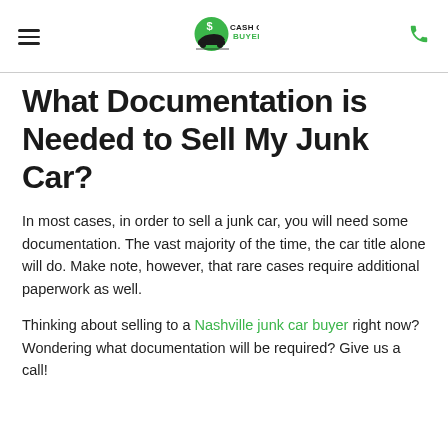[Figure (logo): Cash Cars Buyer logo with green circle, dollar sign, car silhouette, and bold text 'CASH CARS BUYER']
What Documentation is Needed to Sell My Junk Car?
In most cases, in order to sell a junk car, you will need some documentation. The vast majority of the time, the car title alone will do. Make note, however, that rare cases require additional paperwork as well.
Thinking about selling to a Nashville junk car buyer right now? Wondering what documentation will be required? Give us a call!